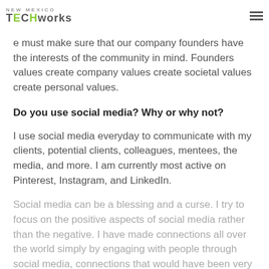NEW MEXICO TECHworks
e must make sure that our company founders have the interests of the community in mind. Founders values create company values create societal values create personal values.
Do you use social media? Why or why not?
I use social media everyday to communicate with my clients, potential clients, colleagues, mentees, the media, and more. I am currently most active on Pinterest, Instagram, and LinkedIn.
Social media can be a blessing and a curse. I try to focus on the positive aspects of social media rather than the negative. I have made connections all over the world simply by engaging with people through social media, connections that would have been very difficult if not impossible to...